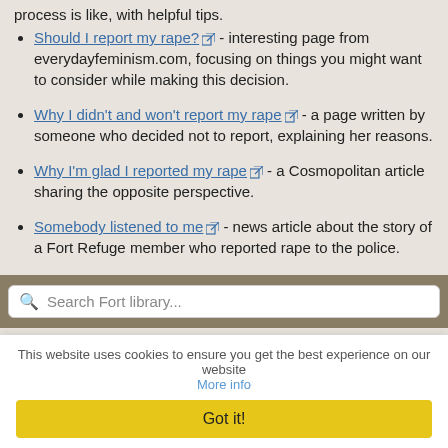Should I report my rape? - interesting page from everydayfeminism.com, focusing on things you might want to consider while making this decision.
Why I didn't and won't report my rape - a page written by someone who decided not to report, explaining her reasons.
Why I'm glad I reported my rape - a Cosmopolitan article sharing the opposite perspective.
Somebody listened to me - news article about the story of a Fort Refuge member who reported rape to the police.
This page was last updated on September 27th, 2017
© 2008-2022 Fort Refuge. Please don't reproduce without permission.
Search Fort library...
This website uses cookies to ensure you get the best experience on our website More info
Got it!